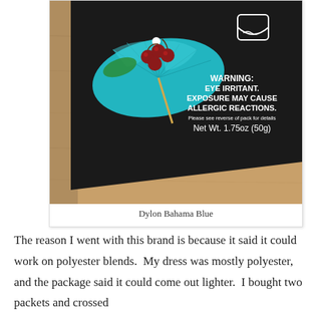[Figure (photo): A dark/black package of Dylon Bahama Blue fabric dye on a wooden table. The package shows a teal/turquoise cocktail umbrella with cherries illustration. Text on package reads: WARNING: EYE IRRITANT. EXPOSURE MAY CAUSE ALLERGIC REACTIONS. Please see reverse of pack for details. Net Wt. 1.75oz (50g). A washing/laundry care symbol is also visible.]
Dylon Bahama Blue
The reason I went with this brand is because it said it could work on polyester blends.  My dress was mostly polyester, and the package said it could come out lighter.  I bought two packets and crossed